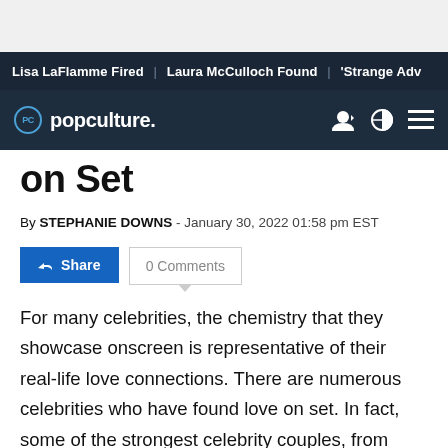Lisa LaFlamme Fired | Laura McCulloch Found | 'Strange Adv
on Set
By STEPHANIE DOWNS - January 30, 2022 01:58 pm EST
For many celebrities, the chemistry that they showcase onscreen is representative of their real-life love connections. There are numerous celebrities who have found love on set. In fact, some of the strongest celebrity couples, from Ryan Reynolds and Reynolds to Kurt Russell and Goldie Hawn, have met while working on a television